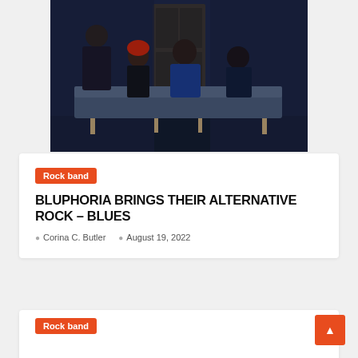[Figure (photo): Band photo of four musicians seated on a couch in front of a dark blue background with a wooden door. One person stands behind. Members dressed in dark and blue clothing.]
Rock band
BLUPHORIA BRINGS THEIR ALTERNATIVE ROCK – BLUES
Corina C. Butler   August 19, 2022
Rock band